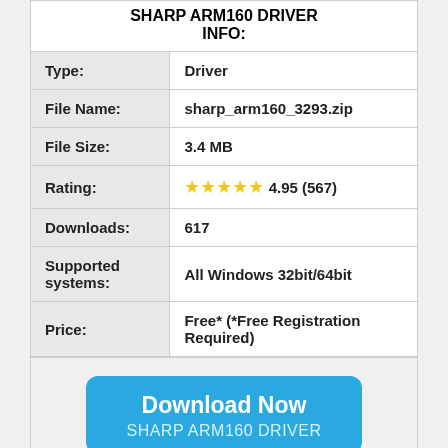SHARP ARM160 DRIVER INFO:
| Field | Value |
| --- | --- |
| Type: | Driver |
| File Name: | sharp_arm160_3293.zip |
| File Size: | 3.4 MB |
| Rating: | ★★★★★ 4.95 (567) |
| Downloads: | 617 |
| Supported systems: | All Windows 32bit/64bit |
| Price: | Free* (*Free Registration Required) |
Download Now SHARP ARM160 DRIVER